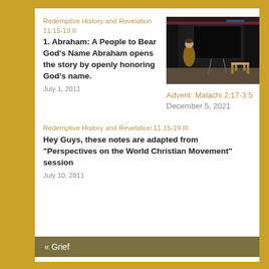Redemptive History and Revelation 11:15-19 II
1. Abraham: A People to Bear God’s Name Abraham opens the story by openly honoring God’s name.
July 1, 2011
[Figure (photo): A speaker on a dark stage with a projector screen, curtains in the background and wooden furniture visible.]
Advent: Malachi 2:17-3:5
December 5, 2021
Redemptive History and Revelation 11:15-19 III
Hey Guys, these notes are adapted from "Perspectives on the World Christian Movement" session
July 10, 2011
«  Grief